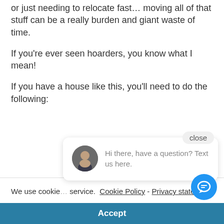or just needing to relocate fast… moving all of that stuff can be a really burden and giant waste of time.
If you're ever seen hoarders, you know what I mean!
If you have a house like this, you'll need to do the following:
close
[Figure (photo): Chat popup with photo of a man in suit, text: Hi there, have a question? Text us here.]
We use cookie service.  Cookie Policy  -  Privacy statement
Accept
Potentially waste money hiring movers